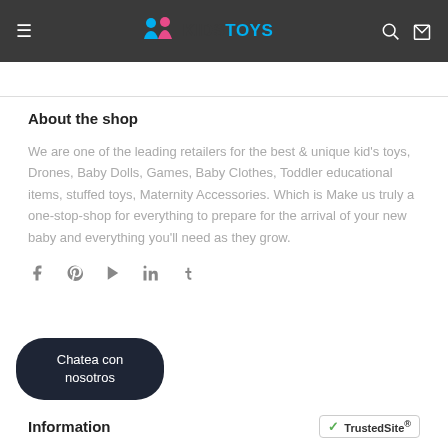KIDSTOYS — navigation header with menu, logo, search, and cart icons
About the shop
We are one of the leading retailers for the best & unique kid's toys, Drones, Baby Dolls, Games, Baby Clothes, Toddler educational items, stuffed toys, Maternity Accessories. Which is Make us truly a one-stop-shop for everything to prepare for the arrival of your new baby and everything you'll need as they grow.
[Figure (infographic): Social media icons row: Facebook, Pinterest, YouTube, LinkedIn, Tumblr]
[Figure (other): Dark rounded button with text 'Chatea con nosotros']
Information
[Figure (logo): TrustedSite badge with green checkmark]